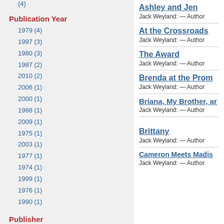Publication Year
1979 (4)
1997 (3)
1980 (3)
1987 (2)
2010 (2)
2006 (1)
2000 (1)
1988 (1)
2009 (1)
1975 (1)
2003 (1)
1977 (1)
1974 (1)
1999 (1)
1976 (1)
1990 (1)
Publisher
Church of Jesus Christ of Latter-day Saints (9)
Deseret Book (7)
Ashley and Jen
Jack Weyland: — Author
At the Crossroads
Jack Weyland: — Author
The Award
Jack Weyland: — Author
Brenda at the Prom
Jack Weyland: — Author
Briana, My Brother, ar...
Jack Weyland: — Author
Brittany
Jack Weyland: — Author
Cameron Meets Madis...
Jack Weyland: — Author